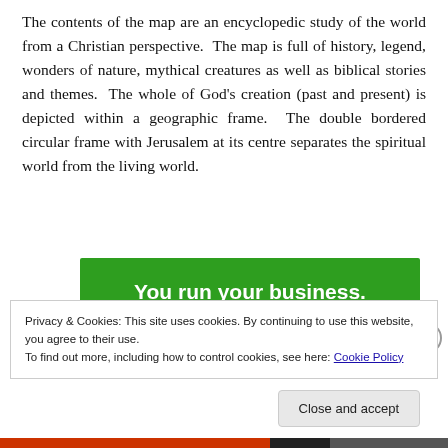The contents of the map are an encyclopedic study of the world from a Christian perspective. The map is full of history, legend, wonders of nature, mythical creatures as well as biblical stories and themes. The whole of God's creation (past and present) is depicted within a geographic frame. The double bordered circular frame with Jerusalem at its centre separates the spiritual world from the living world.
[Figure (other): Green advertisement banner with white bold text reading 'You run your business.']
Privacy & Cookies: This site uses cookies. By continuing to use this website, you agree to their use.
To find out more, including how to control cookies, see here: Cookie Policy
Close and accept